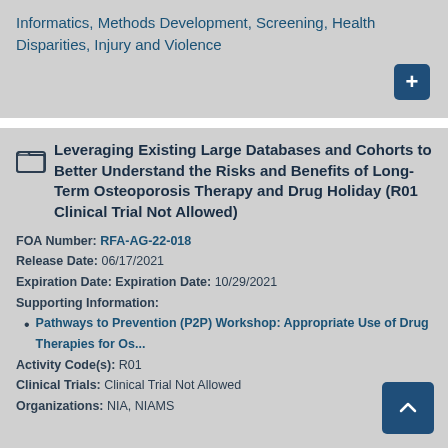Informatics, Methods Development, Screening, Health Disparities, Injury and Violence
Leveraging Existing Large Databases and Cohorts to Better Understand the Risks and Benefits of Long-Term Osteoporosis Therapy and Drug Holiday (R01 Clinical Trial Not Allowed)
FOA Number: RFA-AG-22-018
Release Date: 06/17/2021
Expiration Date: Expiration Date: 10/29/2021
Supporting Information:
• Pathways to Prevention (P2P) Workshop: Appropriate Use of Drug Therapies for Os...
Activity Code(s): R01
Clinical Trials: Clinical Trial Not Allowed
Organizations: NIA, NIAMS